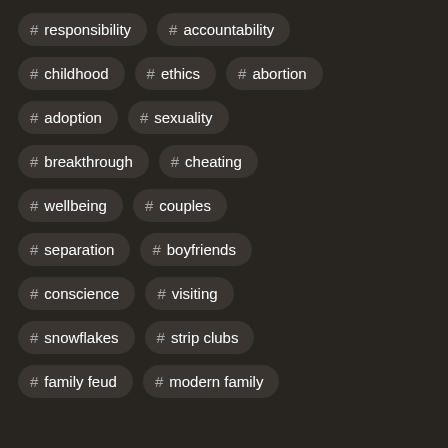# responsibility
# accountability
# childhood
# ethics
# abortion
# adoption
# sexuality
# breakthrough
# cheating
# wellbeing
# couples
# separation
# boyfriends
# conscience
# visiting
# snowflakes
# strip clubs
# family feud
# modern family